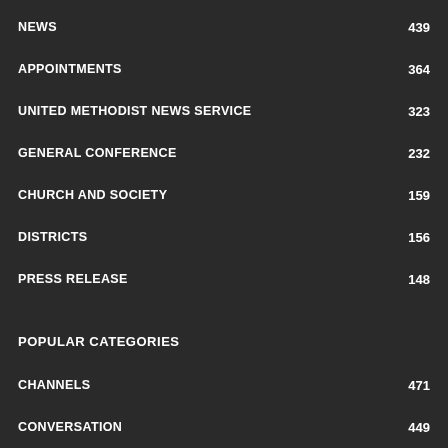NEWS 439
APPOINTMENTS 364
UNITED METHODIST NEWS SERVICE 323
GENERAL CONFERENCE 232
CHURCH AND SOCIETY 159
DISTRICTS 156
PRESS RELEASE 148
POPULAR CATEGORIES
CHANNELS 471
CONVERSATION 449
NEWS 439
APPOINTMENTS 364
UNITED METHODIST NEWS SERVICE 323